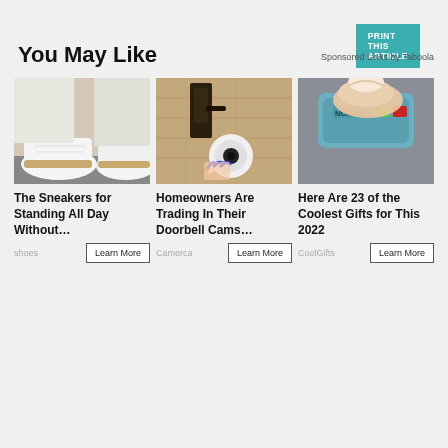PRINT THIS ARTICLE
You May Like
Sponsored Links by Taboola
[Figure (photo): White sneakers on a person's feet wearing white jeans]
The Sneakers for Standing All Day Without…
shoes   Learn More
[Figure (photo): Security camera pointed at a doorbell area at a home entrance]
Homeowners Are Trading In Their Doorbell Cams…
Camerca   Learn More
[Figure (photo): Nokia device being held between fingers on a gray surface]
Here Are 23 of the Coolest Gifts for This 2022
CoolGifts   Learn More